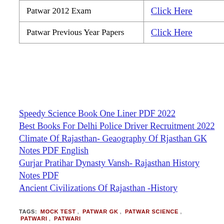| Patwar 2012 Exam | Click Here |
| Patwar Previous Year Papers | Click Here |
Speedy Science Book One Liner PDF 2022
Best Books For Delhi Police Driver Recruitment 2022
Climate Of Rajasthan- Geaography Of Rjasthan GK Notes PDF English
Gurjar Pratihar Dynasty Vansh- Rajasthan History Notes PDF
Ancient Civilizations Of Rajasthan -History
TAGS: MOCK TEST, PATWAR GK, PATWAR SCIENCE, PATWARI, PATWARI